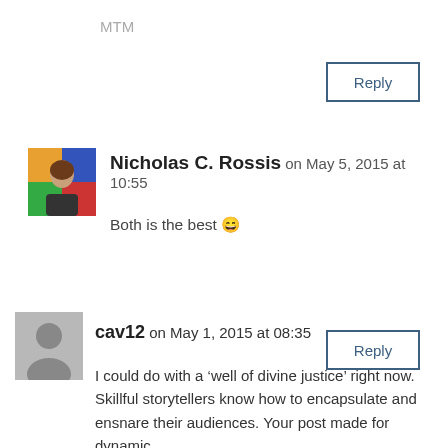MTM
Reply
Nicholas C. Rossis on May 5, 2015 at 10:55
Both is the best 😀
Reply
cav12 on May 1, 2015 at 08:35
I could do with a ‘well of divine justice’ right now. Skillful storytellers know how to encapsulate and ensnare their audiences. Your post made for dynamic